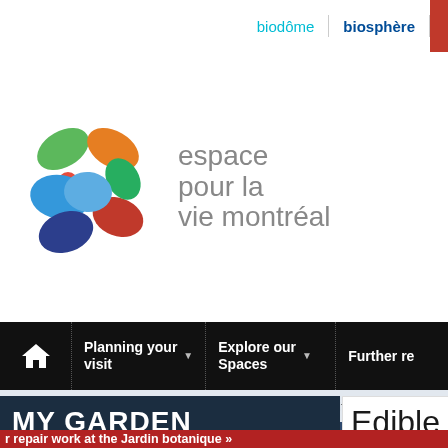biodôme  |  biosphère  |
[Figure (logo): Espace pour la vie Montréal logo with colourful petal shapes and grey text]
Planning your visit ▾  |  Explore our Spaces ▾  |  Further re...
Home > Get involved > My Garden > Edible Garden certification
MY GARDEN
Edible G
r repair work at the Jardin botanique »